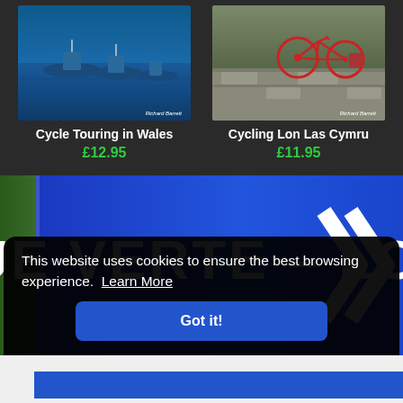[Figure (illustration): Book cover for 'Cycle Touring in Wales' by Richard Barrett — boats on blue water]
Cycle Touring in Wales
£12.95
[Figure (illustration): Book cover for 'Cycling Lon Las Cymru' by Richard Barrett — bicycle leaning against stone wall]
Cycling Lon Las Cymru
£11.95
[Figure (photo): Close-up of a blue road sign reading AVENUE VERTE - LONDON with a chevron arrow on the right]
This website uses cookies to ensure the best browsing experience.  Learn More
Got it!